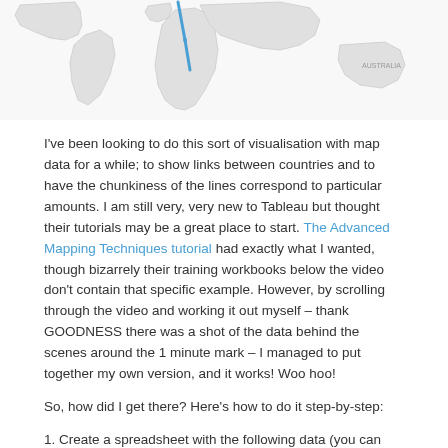[Figure (map): World map showing country outlines in light grey with a blue line/path drawn over Africa region, and Australia visible on the right side.]
I've been looking to do this sort of visualisation with map data for a while; to show links between countries and to have the chunkiness of the lines correspond to particular amounts. I am still very, very new to Tableau but thought their tutorials may be a great place to start. The Advanced Mapping Techniques tutorial had exactly what I wanted, though bizarrely their training workbooks below the video don't contain that specific example. However, by scrolling through the video and working it out myself – thank GOODNESS there was a shot of the data behind the scenes around the 1 minute mark – I managed to put together my own version, and it works! Woo hoo!
So, how did I get there? Here's how to do it step-by-step:
1. Create a spreadsheet with the following data (you can copy & paste mine from below).
IMPORTANT – each line is a one-way path but in order for it work, there must also be a return path. For example, the data in the first row goes from the UK to US, but there also needs to be a return line back